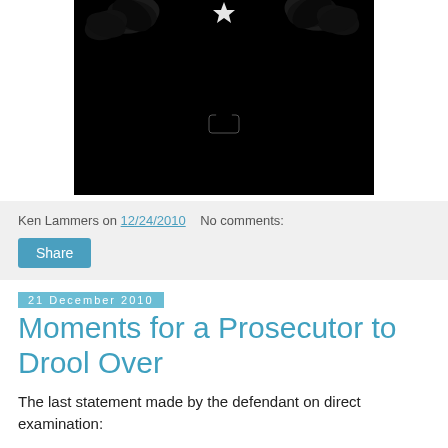[Figure (illustration): Black and white silhouette nativity scene with palm trees, Mary, Joseph, baby Jesus in a manger, shepherds, sheep, and rays of light]
Ken Lammers on 12/24/2010    No comments:
Share
21 December 2010
Moments for a Prosecutor to Drool Over
The last statement made by the defendant on direct examination: